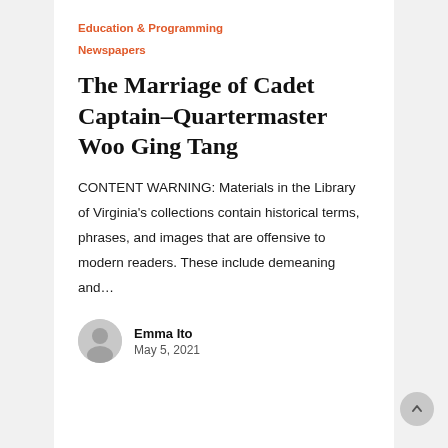Education & Programming
Newspapers
The Marriage of Cadet Captain–Quartermaster Woo Ging Tang
CONTENT WARNING: Materials in the Library of Virginia's collections contain historical terms, phrases, and images that are offensive to modern readers. These include demeaning and…
Emma Ito
May 5, 2021